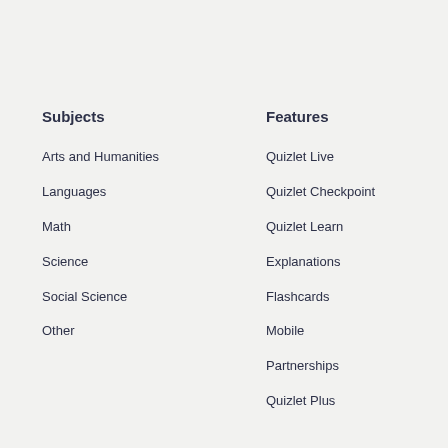Subjects
Arts and Humanities
Languages
Math
Science
Social Science
Other
Features
Quizlet Live
Quizlet Checkpoint
Quizlet Learn
Explanations
Flashcards
Mobile
Partnerships
Quizlet Plus